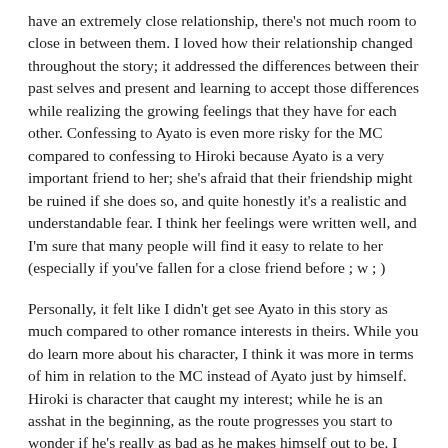have an extremely close relationship, there's not much room to close in between them. I loved how their relationship changed throughout the story; it addressed the differences between their past selves and present and learning to accept those differences while realizing the growing feelings that they have for each other. Confessing to Ayato is even more risky for the MC compared to confessing to Hiroki because Ayato is a very important friend to her; she's afraid that their friendship might be ruined if she does so, and quite honestly it's a realistic and understandable fear. I think her feelings were written well, and I'm sure that many people will find it easy to relate to her (especially if you've fallen for a close friend before ; w ; )
Personally, it felt like I didn't get see Ayato in this story as much compared to other romance interests in theirs. While you do learn more about his character, I think it was more in terms of him in relation to the MC instead of Ayato just by himself. Hiroki is character that caught my interest; while he is an asshat in the beginning, as the route progresses you start to wonder if he's really as bad as he makes himself out to be. I definitely can't wait for his route!